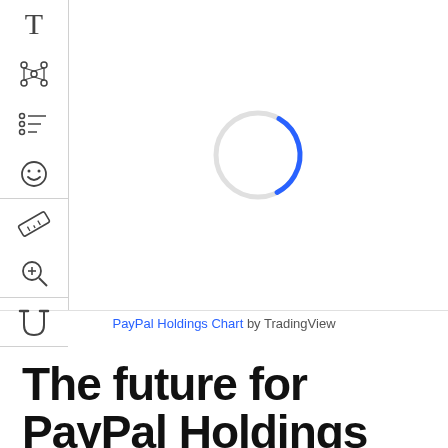[Figure (screenshot): TradingView chart widget loading state with a spinning loader circle (blue and gray arc) in the center. Left sidebar shows tool icons: text tool (T), network/graph tool, scatter/data tool, emoji/annotation tool, ruler tool, zoom tool, and magnet tool arranged in vertical groups separated by dividers.]
PayPal Holdings Chart by TradingView
The future for PayPal Holdings stocks – Buy or